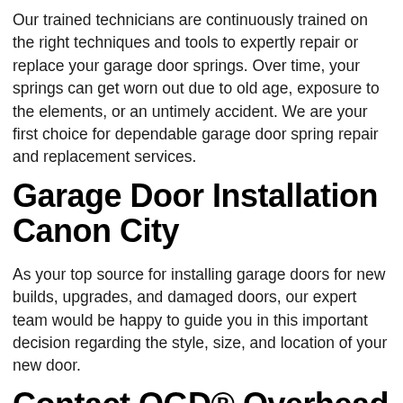Our trained technicians are continuously trained on the right techniques and tools to expertly repair or replace your garage door springs. Over time, your springs can get worn out due to old age, exposure to the elements, or an untimely accident. We are your first choice for dependable garage door spring repair and replacement services.
Garage Door Installation Canon City
As your top source for installing garage doors for new builds, upgrades, and damaged doors, our expert team would be happy to guide you in this important decision regarding the style, size, and location of your new door.
Contact OGD® Overhead Garage Door Canon City